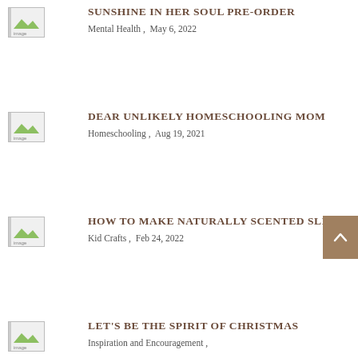[Figure (illustration): Thumbnail image placeholder for Sunshine in Her Soul Pre-Order article]
SUNSHINE IN HER SOUL PRE-ORDER
Mental Health ,  May 6, 2022
[Figure (illustration): Thumbnail image placeholder for Dear Unlikely Homeschooling Mom article]
DEAR UNLIKELY HOMESCHOOLING MOM
Homeschooling ,  Aug 19, 2021
[Figure (illustration): Thumbnail image placeholder for How to Make Naturally Scented Slime article]
HOW TO MAKE NATURALLY SCENTED SLIME
Kid Crafts ,  Feb 24, 2022
[Figure (illustration): Thumbnail image placeholder for Let's Be the Spirit of Christmas article]
LET'S BE THE SPIRIT OF CHRISTMAS
Inspiration and Encouragement ,